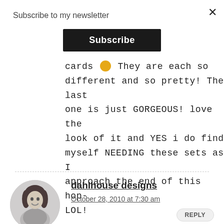Subscribe to my newsletter
Subscribe
cards 😊 They are each so different and so pretty! The last one is just GORGEOUS! love the look of it and YES i do find myself NEEDING these sets as I approach the end of this hop- LOL!
dahlhouse designs
October 28, 2010 at 7:30 am
REPLY